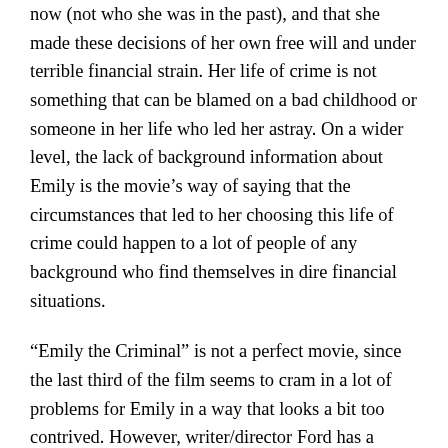now (not who she was in the past), and that she made these decisions of her own free will and under terrible financial strain. Her life of crime is not something that can be blamed on a bad childhood or someone in her life who led her astray. On a wider level, the lack of background information about Emily is the movie's way of saying that the circumstances that led to her choosing this life of crime could happen to a lot of people of any background who find themselves in dire financial situations.
“Emily the Criminal” is not a perfect movie, since the last third of the film seems to cram in a lot of problems for Emily in a way that looks a bit too contrived. However, writer/director Ford has a knack for intriguing storytelling, and he made very good casting decisions with this movie. “Emily the Criminal” does not make Emily’s choices look glamorous, but it is an effective story in showing how this unhappy and restless person has to come to terms with who she really is and what type of life